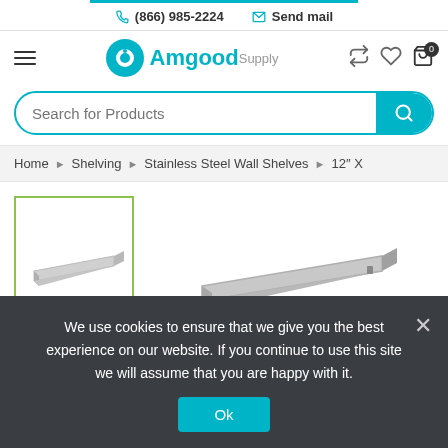(866) 985-2224   Send mail
[Figure (logo): Amgood Supply logo with teal circle icon and brand name]
Search for Products
Home > Shelving > Stainless Steel Wall Shelves > 12" X ...
[Figure (photo): Thumbnail of stainless steel wall shelf product with green border]
[Figure (photo): Main product image of stainless steel wall shelf]
We use cookies to ensure that we give you the best experience on our website. If you continue to use this site we will assume that you are happy with it.